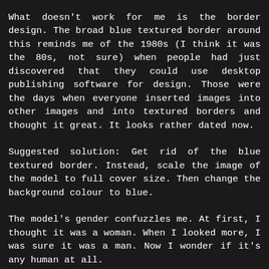What doesn't work for me is the border design. The broad blue textured border around this reminds me of the 1980s (I think it was the 80s, not sure) when people had just discovered that they could use desktop publishing software for design. Those were the days when everyone inserted images into other images and into textured borders and thought it great. It looks rather dated now.
Suggested solution: Get rid of the blue textured border. Instead, scale the image of the model to full cover size. Then change the background colour to blue.
The model's gender confuzzles me. At first, I thought it was a woman. When I looked more, I was sure it was a man. Now I wonder if it's any human at all.
The shoulders and upper back are distinctly female, and the hairstyle and pose support this. But the upper arms and abs are distinctly male.
Of course, the chest and loins are hidden, so I can't be sure. Maybe this is intentional? A story about a